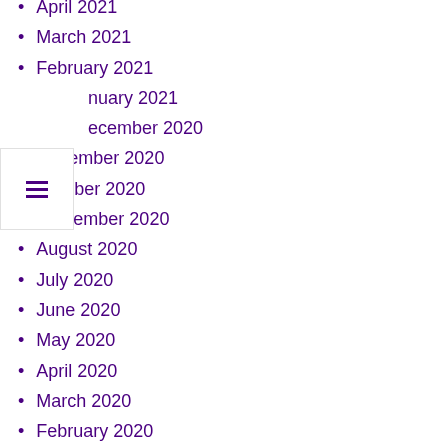April 2021
March 2021
February 2021
January 2021
December 2020
November 2020
October 2020
September 2020
August 2020
July 2020
June 2020
May 2020
April 2020
March 2020
February 2020
January 2020
November 2019
October 2019
September 2019